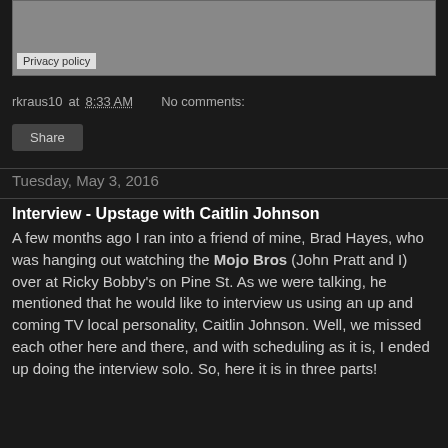[Figure (screenshot): Gray box with Privacy policy label at bottom left]
rkraus10 at 8:33 AM    No comments:
Share
Tuesday, May 3, 2016
Interview - Upstage with Caitlin Johnson
A few months ago I ran into a friend of mine, Brad Hayes, who was hanging out watching the Mojo Bros (John Pratt and I) over at Ricky Bobby's on Pine St. As we were talking, he mentioned that he would like to interview us using an up and coming TV local personality, Caitlin Johnson. Well, we missed each other here and there, and with scheduling as it is, I ended up doing the interview solo. So, here it is in three parts!